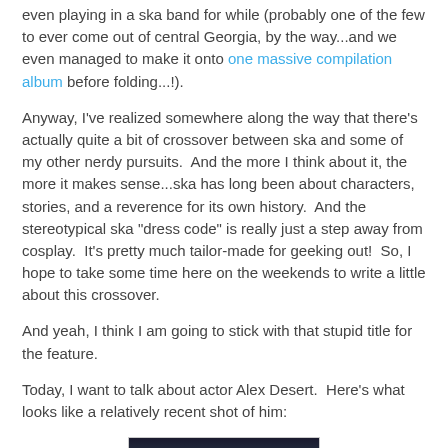even playing in a ska band for while (probably one of the few to ever come out of central Georgia, by the way...and we even managed to make it onto one massive compilation album before folding...!).
Anyway, I've realized somewhere along the way that there's actually quite a bit of crossover between ska and some of my other nerdy pursuits.  And the more I think about it, the more it makes sense...ska has long been about characters, stories, and a reverence for its own history.  And the stereotypical ska "dress code" is really just a step away from cosplay.  It's pretty much tailor-made for geeking out!  So, I hope to take some time here on the weekends to write a little about this crossover.
And yeah, I think I am going to stick with that stupid title for the feature.
Today, I want to talk about actor Alex Desert.  Here's what looks like a relatively recent shot of him:
[Figure (photo): A dark photograph showing what appears to be a person, partially visible at the bottom of the page.]